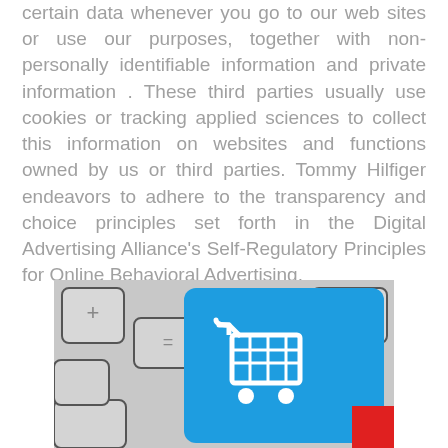certain data whenever you go to our web sites or use our purposes, together with non-personally identifiable information and private information . These third parties usually use cookies or tracking applied sciences to collect this information on websites and functions owned by us or third parties. Tommy Hilfiger endeavors to adhere to the transparency and choice principles set forth in the Digital Advertising Alliance's Self-Regulatory Principles for Online Behavioral Advertising.
[Figure (photo): A close-up photo of a keyboard with a blue shopping cart key, surrounded by grey keys with symbols. A red square appears in the bottom-right corner.]